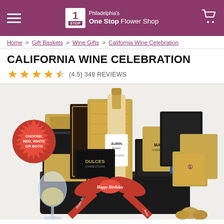Philadelphia's One Stop Flower Shop
Home > Gift Baskets > Wine Gifts > California Wine Celebration
CALIFORNIA WINE CELEBRATION
(4.5) 349 REVIEWS
[Figure (photo): A gift basket featuring Aurin Estates white wine, Dulces Confections, Marich chocolates, and various gourmet treats in a dark basket with a red Happy Birthday ribbon. A wine glass with white wine and walnuts are visible. A red badge reads 'CHOOSE: RED, WHITE OR BOTH'.]